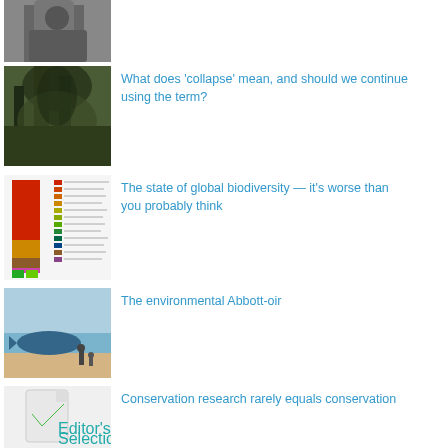[Figure (photo): Partial view of a black and white photo of a person, cropped at top of page]
[Figure (photo): Dark atmospheric forest or jungle scene]
What does 'collapse' mean, and should we continue using the term?
[Figure (infographic): Colorful bar chart/infographic showing biodiversity data with colored blocks and legend]
The state of global biodiversity — it's worse than you probably think
[Figure (illustration): Illustrated beach/coastal scene with a whale or large fish and figures]
The environmental Abbott-oir
[Figure (illustration): Editor's Selection badge with green checkmark on a document icon and teal text]
Conservation research rarely equals conservation